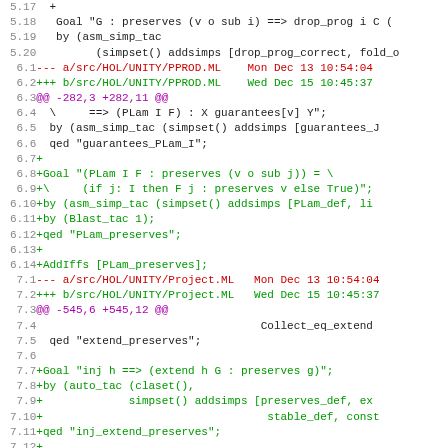[Figure (screenshot): Code diff view showing changes to HOL/UNITY ML files (PPROD.ML and Project.ML), with line numbers on the left and colored diff lines (red for removed, green for added, purple for diff markers).]